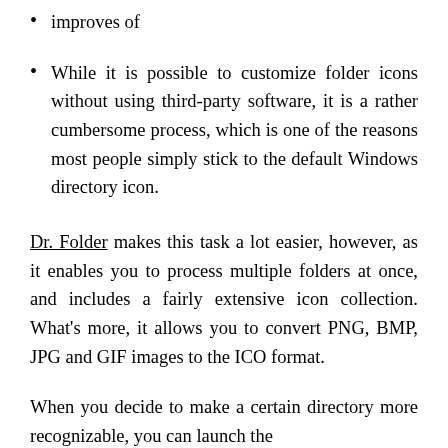improves of
While it is possible to customize folder icons without using third-party software, it is a rather cumbersome process, which is one of the reasons most people simply stick to the default Windows directory icon.
Dr. Folder makes this task a lot easier, however, as it enables you to process multiple folders at once, and includes a fairly extensive icon collection. What's more, it allows you to convert PNG, BMP, JPG and GIF images to the ICO format.
When you decide to make a certain directory more recognizable, you can launch the